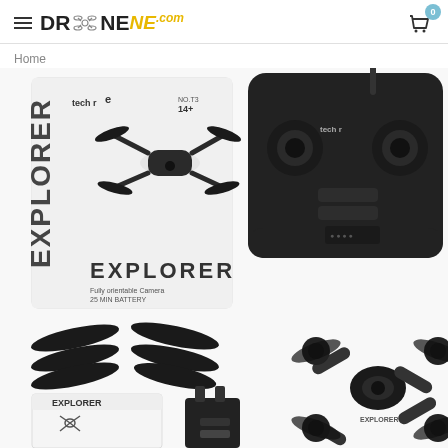DRONENEW — website header with navigation and cart
Home
[Figure (photo): Product photo collage of Tech RC Explorer drone including: product box, remote controller, spare propellers, instruction manual, battery, and drone body viewed from above, all in black color scheme on white background]